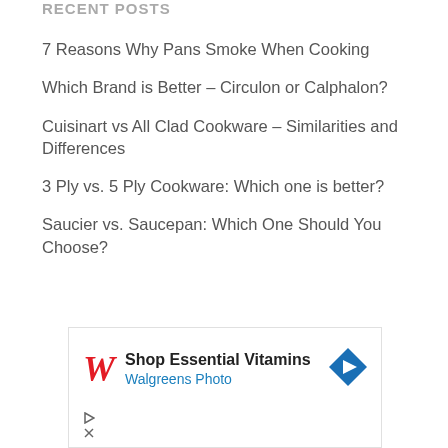RECENT POSTS
7 Reasons Why Pans Smoke When Cooking
Which Brand is Better – Circulon or Calphalon?
Cuisinart vs All Clad Cookware – Similarities and Differences
3 Ply vs. 5 Ply Cookware: Which one is better?
Saucier vs. Saucepan: Which One Should You Choose?
[Figure (screenshot): Walgreens advertisement banner: 'Shop Essential Vitamins – Walgreens Photo' with Walgreens cursive W logo and a blue navigation arrow icon]